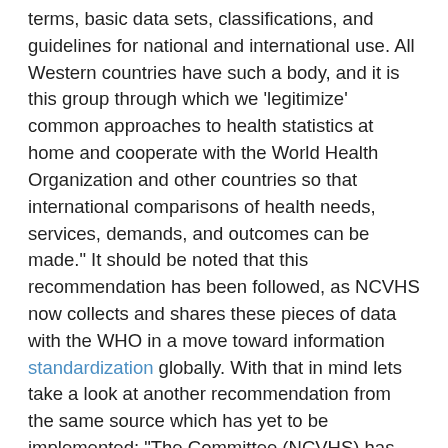terms, basic data sets, classifications, and guidelines for national and international use. All Western countries have such a body, and it is this group through which we 'legitimize' common approaches to health statistics at home and cooperate with the World Health Organization and other countries so that international comparisons of health needs, services, demands, and outcomes can be made." It should be noted that this recommendation has been followed, as NCVHS now collects and shares these pieces of data with the WHO in a move toward information standardization globally. With that in mind lets take a look at another recommendation from the same source which has yet to be implemented: "The Committee (NCVHS) has spoken out for many years on the need for a unique health identifier, while also stressing security and confidentiality protections as a precondition." http://ncvhs.hhs.gov/50history.htm
To properly understand what NCVHS means by 'unique health identifier', we must look to ONCHIT and their recommendations concerning such. Among the Health Information Technology(HIT) goals set by the office we see: "A nation-wide utility that allows secure and seamless health information exchange, capitalized by